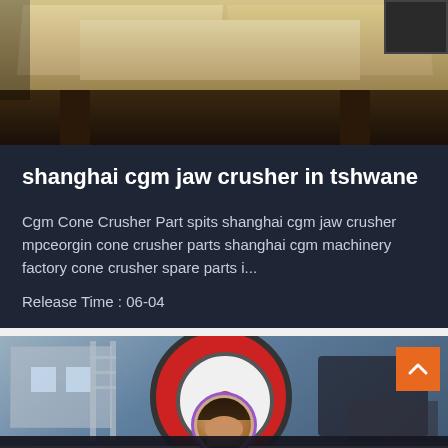[Figure (photo): Industrial jaw crusher machinery, cream/beige colored metal parts, close-up view from below showing structural frame]
shanghai cgm jaw crusher in tshwane
Cgm Cone Crusher Part spits shanghai cgm jaw crusher mpceorgin cone crusher parts shanghai cgm machinery factory cone crusher spare parts i...
Release Time : 06-04
[Figure (photo): Industrial machinery in factory setting showing large red and black wheel/drum of a ball mill or similar grinding equipment, with factory building in background]
Leave Message
Chat Online